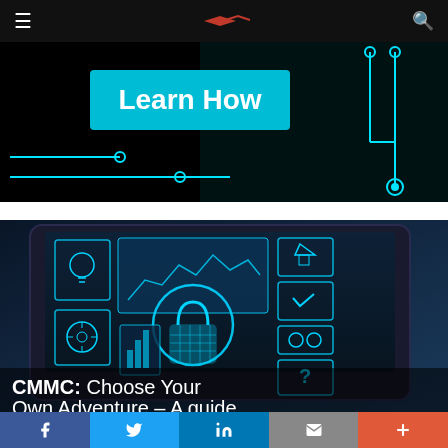Navigation bar with hamburger menu, logo, and search icon
[Figure (illustration): Dark circuit board banner with 'Learn How' button in cyan/teal on black background with glowing circuit line graphics]
[Figure (photo): Laptop screen displaying cybersecurity UI with padlock icon, various security icons, charts, and overlay text 'CMMC: Choose Your Own Adventure – A guide']
Social share bar: Facebook, Twitter, LinkedIn, Email, More